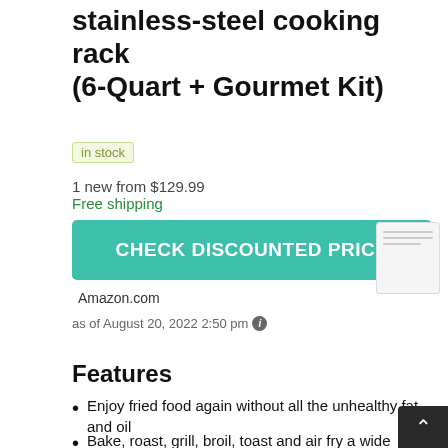stainless-steel cooking rack (6-Quart + Gourmet Kit)
in stock
1 new from $129.99
Free shipping
[Figure (other): Teal/green CHECK DISCOUNTED PRICE call-to-action button]
Amazon.com
as of August 20, 2022 2:50 pm
Features
Enjoy fried food again without all the unhealthy fat and oil
Bake, roast, grill, broil, toast and air fry a wide variety of foods using little to no oil